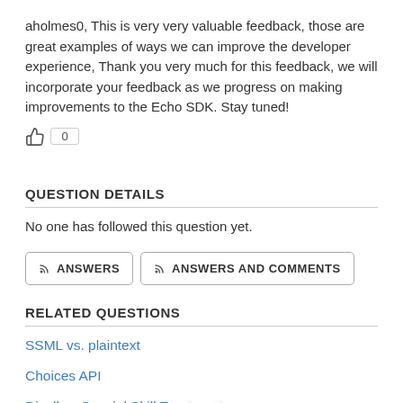aholmes0, This is very very valuable feedback, those are great examples of ways we can improve the developer experience, Thank you very much for this feedback, we will incorporate your feedback as we progress on making improvements to the Echo SDK. Stay tuned!
👍 0
QUESTION DETAILS
No one has followed this question yet.
⊳ ANSWERS   ⊳ ANSWERS AND COMMENTS
RELATED QUESTIONS
SSML vs. plaintext
Choices API
Disallow Special Skill Treatment